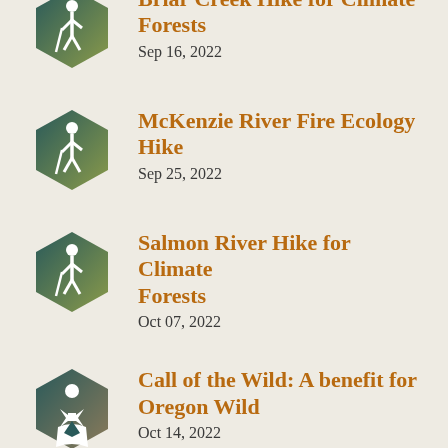Briar Creek Hike for Climate Forests
Sep 16, 2022
McKenzie River Fire Ecology Hike
Sep 25, 2022
Salmon River Hike for Climate Forests
Oct 07, 2022
Call of the Wild: A benefit for Oregon Wild
Oct 14, 2022